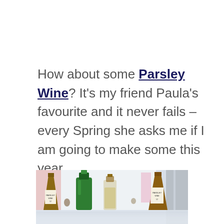How about some Parsley Wine? It's my friend Paula's favourite and it never fails – every Spring she asks me if I am going to make some this year.
[Figure (photo): A row of wine bottles of various shapes and sizes on a reflective surface near a bright window, including a green-bottled wine, a clear bottle with cork, and amber-colored bottles with labels.]